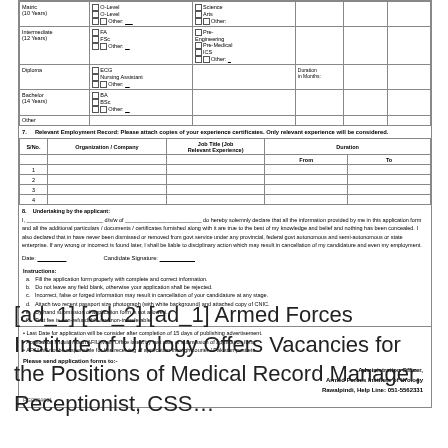|  |  |  | Duration in Months |  |  |
| --- | --- | --- | --- | --- | --- |
| Matric (10 Years) | □O-Level □O-Level □□Other:___ | □Science □Arts □□Other: |  |  |  |
| Intermediate (12 Years) | □FA □FSc □□Other:___ | □Pre-Engineering □Pre-Medical □ICS □□Other:___ |  |  |  |
| Diploma | □ECG □Nursing Assistant □□Other:___ |  | Duration in Months: |  |  |
| Bachelor (14 Years) | □BA □BSc □□Other:___ |  |  |  |  |
| Other |  |  |  |  |  |
7. Relevant Employment Record: Please attach copies of your experience certificates. Only relevant experience will be considered.
| S/No. | Organization / Company | Job Title (Job Relevant Experience) | Duration From | Duration To |
| --- | --- | --- | --- | --- |
| 1 |  |  |  |  |
| 2 |  |  |  |  |
| 3 |  |  |  |  |
| 4 |  |  |  |  |
8. Undertaking by the applicant: I, _______________ d/s/w of _______________ do hereby solemnly declare that all the information provided by me in this application form and all the additional particulars / documents / certificates furnished along with it are true to the best of my knowledge and belief and nothing has been concealed. I also declared that in have never been dismissed or removed from govt service under any provincial, federal govt autonomous and semi-autonomous or state enterprise. If any wrong or incorrect is found later, I shall be liable to disciplinary action which may result in cancellation of my candidature and even my employment.
Date: _______________ Candidate Signature: _______________
Instructions: a. Fill the application form properly with complete and correct information. b. Do not leave any field blank, otherwise your application shall be rejected. c. Incorrect, false or forged information may result in cancellation of your candidature at any stage. d. Attach two recent passport size photograph (with white background) and attached copy of CNIC. e. By hand submission of application form is not allowed. f. Test fee is non-refundable and non-transferable.
• Last Date for application will be consider after completion of 15 days of publishing advertisement. • Application should reach AFIU Main Office latest by last date of submission of application form. • AFIU will not be responsible for late receiving of application through courier / Pakistan post etc.
Please send application forms to:-
Administration Officer, Armed Forces Institute of Urology Rawalpindi, Help Line: 051-5562331
PG0804601
[ad_1] [ad_2] [ad_1] Armed Forces Institute of Urology Offers Vacancies for the Positions of Medical Record Manager, Receptionist, CSS...